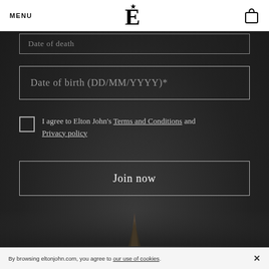MENU | E★ logo | cart icon
Date of birth (DD/MM/YYYY)*
I agree to Elton John's Terms and Conditions and Privacy policy
Join now
By browsing eltonjohn.com, you agree to our use of cookies. ×